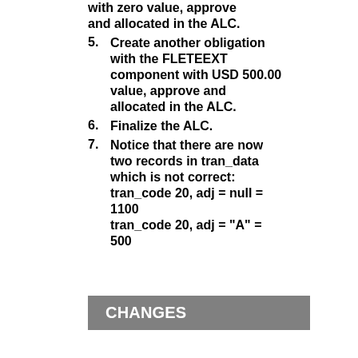with zero value, approve and allocated in the ALC.
5. Create another obligation with the FLETEEXT component with USD 500.00 value, approve and allocated in the ALC.
6. Finalize the ALC.
7. Notice that there are now two records in tran_data which is not correct: tran_code 20, adj = null = 1100 tran_code 20, adj = "A" = 500
CHANGES
CAUSE